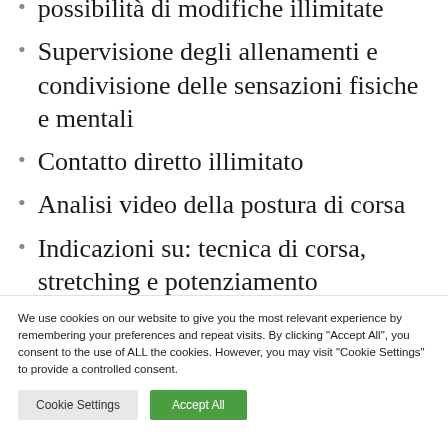possibilità di modifiche illimitate
Supervisione degli allenamenti e condivisione delle sensazioni fisiche e mentali
Contatto diretto illimitato
Analisi video della postura di corsa
Indicazioni su: tecnica di corsa, stretching e potenziamento
We use cookies on our website to give you the most relevant experience by remembering your preferences and repeat visits. By clicking "Accept All", you consent to the use of ALL the cookies. However, you may visit "Cookie Settings" to provide a controlled consent.